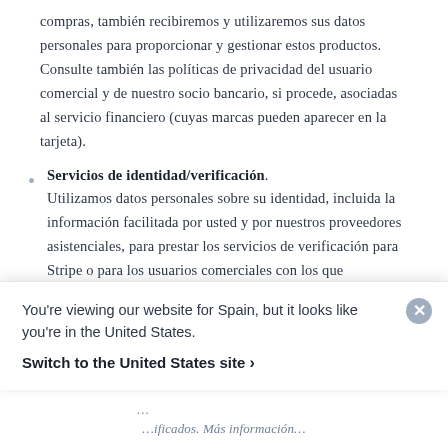compras, también recibiremos y utilizaremos sus datos personales para proporcionar y gestionar estos productos. Consulte también las políticas de privacidad del usuario comercial y de nuestro socio bancario, si procede, asociadas al servicio financiero (cuyas marcas pueden aparecer en la tarjeta).
Servicios de identidad/verificación. Utilizamos datos personales sobre su identidad, incluida la información facilitada por usted y por nuestros proveedores asistenciales, para prestar los servicios de verificación para Stripe o para los usuarios comerciales con los que
You're viewing our website for Spain, but it looks like you're in the United States.
Switch to the United States site ›
...información...